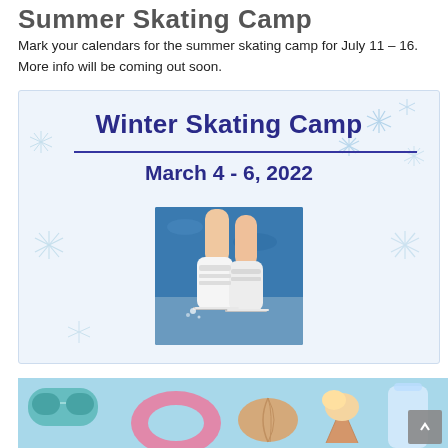Summer Skating Camp
Mark your calendars for the summer skating camp for July 11 – 16. More info will be coming out soon.
[Figure (illustration): Winter Skating Camp promotional image with snowflake decorations, bold dark blue text reading 'Winter Skating Camp', a dark blue underline, date 'March 4 - 6, 2022', and a photo of ice skating boots/skates on ice.]
[Figure (photo): Summer items flatlay photo showing sunglasses, pink inflatable ring, seashell, ice cream cone, and water bottle on light blue background.]